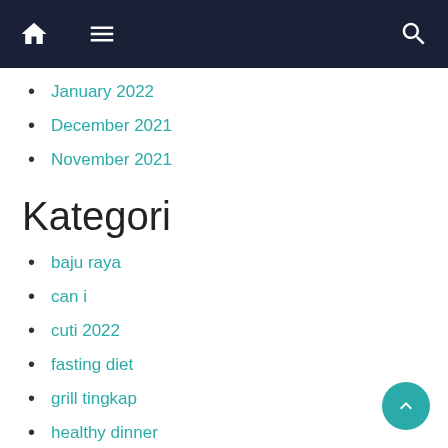Navigation bar with home, menu, and search icons
January 2022
December 2021
November 2021
Kategori
baju raya
can i
cuti 2022
fasting diet
grill tingkap
healthy dinner
how fast
hyung
iftar time today